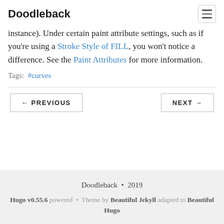Doodleback
instance). Under certain paint attribute settings, such as if you're using a Stroke Style of FILL, you won't notice a difference. See the Paint Attributes for more information.
Tags: #curves
← PREVIOUS    NEXT →
Doodleback • 2019
Hugo v0.55.6 powered • Theme by Beautiful Jekyll adapted to Beautiful Hugo